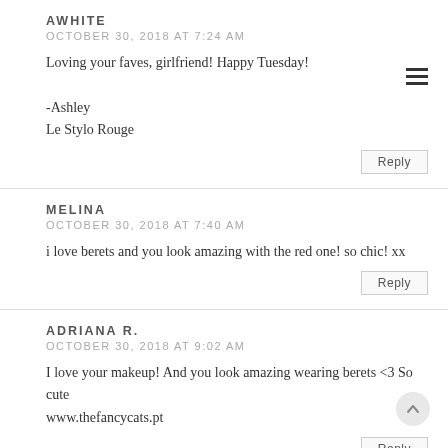AWHITE
OCTOBER 30, 2018 AT 7:24 AM
Loving your faves, girlfriend! Happy Tuesday!

-Ashley
Le Stylo Rouge
Reply
MELINA
OCTOBER 30, 2018 AT 7:40 AM
i love berets and you look amazing with the red one! so chic! xx
Reply
ADRIANA R.
OCTOBER 30, 2018 AT 9:02 AM
I love your makeup! And you look amazing wearing berets <3 So cute www.thefancycats.pt
Reply